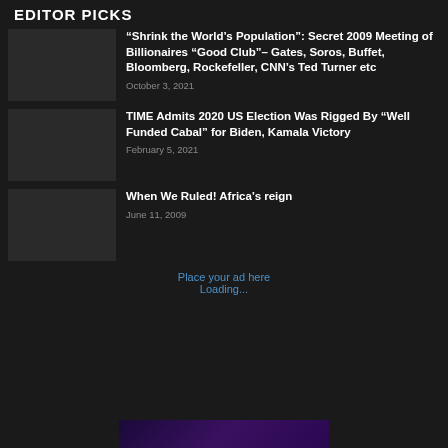EDITOR PICKS
“Shrink the World’s Population”: Secret 2009 Meeting of Billionaires “Good Club”– Gates, Soros, Buffet, Bloomberg, Rockefeller, CNN’s Ted Turner etc
October 3, 2021
TIME Admits 2020 US Election Was Rigged By “Well Funded Cabal” for Biden, Kamala Victory
February 5, 2021
When We Ruled! Africa’s reign
June 11, 2009
Place your ad here
Loading...